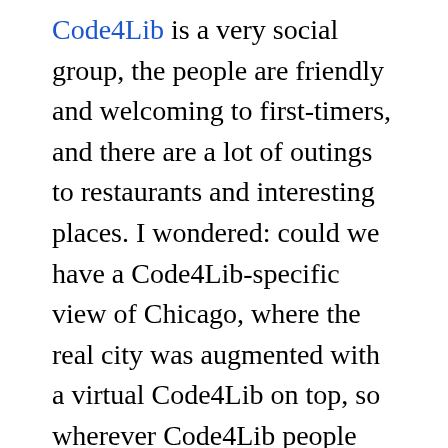Code4Lib is a very social group, the people are friendly and welcoming to first-timers, and there are a lot of outings to restaurants and interesting places. I wondered: could we have a Code4Lib-specific view of Chicago, where the real city was augmented with a virtual Code4Lib on top, so wherever Code4Lib people are they see what other conference people are doing nearby? So I wrote Laertes to try it out.

This email I sent to the Code4Lib